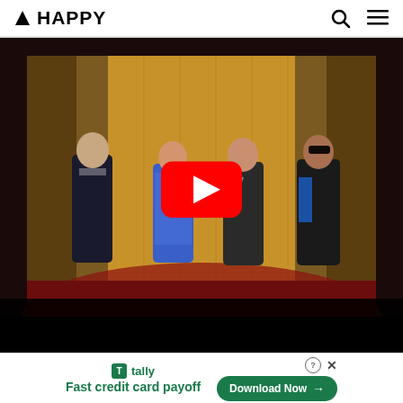▲ HAPPY
[Figure (screenshot): YouTube video thumbnail showing four performers on a stage with warm golden/red lighting. A man in a dark suit stands on the left, a woman in a blue patterned dress, a woman in dark clothing, and a man in dark clothing with sunglasses holding microphones. A large red YouTube play button is centered over the image. The bottom portion of the video shows a dark letterbox bar.]
Fast credit card payoff
Download Now →